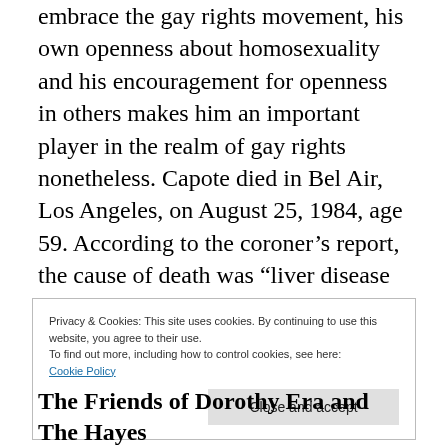Although Capote seemed never really to embrace the gay rights movement, his own openness about homosexuality and his encouragement for openness in others makes him an important player in the realm of gay rights nonetheless. Capote died in Bel Air, Los Angeles, on August 25, 1984, age 59. According to the coroner's report, the cause of death was “liver disease complicated by phlebitis and multiple drug intoxication.”[59]He died at the home of his old friend Joanne Carson, ex-wife
Privacy & Cookies: This site uses cookies. By continuing to use this website, you agree to their use.
To find out more, including how to control cookies, see here:
Cookie Policy
The Friends of Dorothy Era and The Hayes